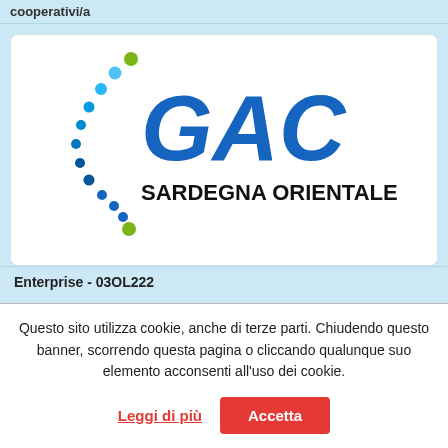cooperativi/a
[Figure (logo): GAC Sardegna Orientale logo with blue dots arc and bold GAC text in dark blue with 'SARDEGNA ORIENTALE' below]
Enterprise - 03OL222
Questo sito utilizza cookie, anche di terze parti. Chiudendo questo banner, scorrendo questa pagina o cliccando qualunque suo elemento acconsenti all'uso dei cookie.
Leggi di più
Accetta